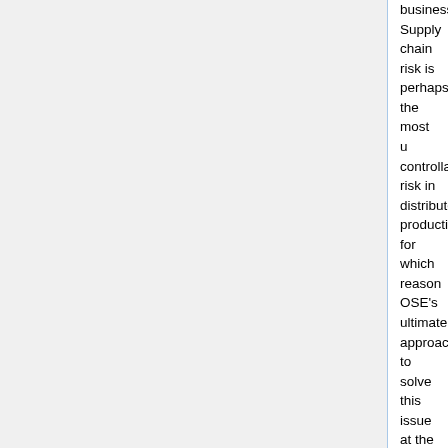business. Supply chain risk is perhaps the most u controllable risk in distributed production, for which reason OSE's ultimate approach to solve this issue at the core is Technological Recursion and Import Substitution via relocalized production and supply chain creation within minimum distance practical, which should be no more than one hour travel distance. This facilitates not only a Robust supply chain, but also rapid innovation cycles within OSE's framework as a learning organization striving for continuous improvement.
The template below shows space for 5 suppliers, which should reflect convergence to the best supplier (in cost, time, quality, reliability), especially in that supplier prices can be compared to OEM prices. Research from trusted